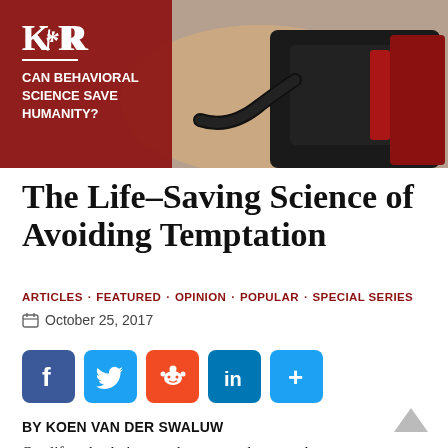[Figure (photo): Banner image showing a blood pressure cuff being applied to someone's arm, with a dark red overlay on the left side containing a logo and text reading 'CAN BEHAVIORAL SCIENCE SAVE HUMANITY?']
The Life-Saving Science of Avoiding Temptation
ARTICLES · FEATURED · OPINION · POPULAR · SPECIAL SERIES
October 25, 2017
[Figure (infographic): Social sharing buttons: Facebook, Twitter, Reddit, LinkedIn, and a plus/more button]
BY KOEN VAN DER SWALUW
Our lifestyle choices—what we eat, how much we